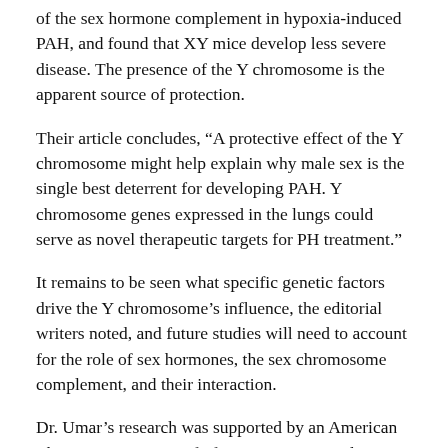of the sex hormone complement in hypoxia-induced PAH, and found that XY mice develop less severe disease. The presence of the Y chromosome is the apparent source of protection.
Their article concludes, “A protective effect of the Y chromosome might help explain why male sex is the single best deterrent for developing PAH. Y chromosome genes expressed in the lungs could serve as novel therapeutic targets for PH treatment.”
It remains to be seen what specific genetic factors drive the Y chromosome’s influence, the editorial writers noted, and future studies will need to account for the role of sex hormones, the sex chromosome complement, and their interaction.
Dr. Umar’s research was supported by an American Thoracic Society Proof of Concept grant, and a recent UCLA Cardiovascular Theme Innovation Award will make the next phase of the study possible.